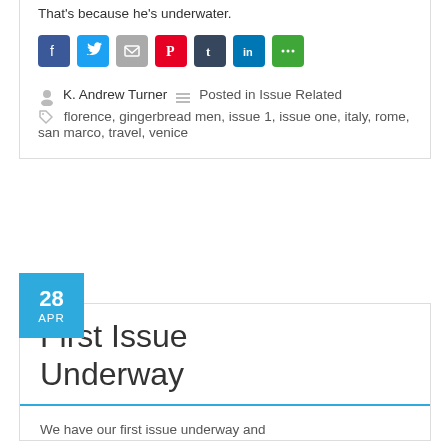That's because he's underwater.
[Figure (other): Social sharing icons: Facebook, Twitter, Email, Pinterest, Tumblr, LinkedIn, More Options]
K. Andrew Turner   Posted in Issue Related   florence, gingerbread men, issue 1, issue one, italy, rome, san marco, travel, venice
28 APR
First Issue Underway
We have our first issue underway and